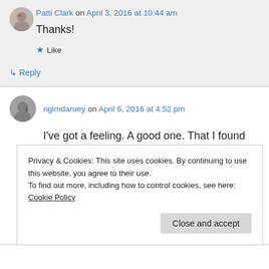Patti Clark on April 3, 2016 at 10:44 am
Thanks!
★ Like
↳ Reply
ngimdaruey on April 6, 2016 at 4:52 pm
I've got a feeling. A good one. That I found an amazing blog and a passionate writer. Thanks
Privacy & Cookies: This site uses cookies. By continuing to use this website, you agree to their use.
To find out more, including how to control cookies, see here: Cookie Policy
Close and accept